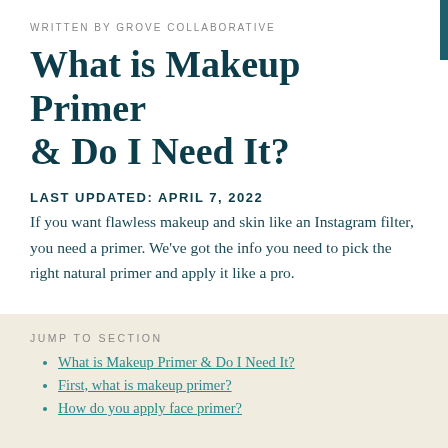WRITTEN BY GROVE COLLABORATIVE
What is Makeup Primer & Do I Need It?
LAST UPDATED: APRIL 7, 2022
If you want flawless makeup and skin like an Instagram filter, you need a primer. We've got the info you need to pick the right natural primer and apply it like a pro.
JUMP TO SECTION
What is Makeup Primer & Do I Need It?
First, what is makeup primer?
How do you apply face primer?